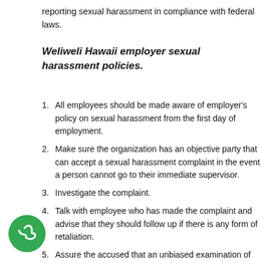reporting sexual harassment in compliance with federal laws.
Weliweli Hawaii employer sexual harassment policies.
All employees should be made aware of employer's policy on sexual harassment from the first day of employment.
Make sure the organization has an objective party that can accept a sexual harassment complaint in the event a person cannot go to their immediate supervisor.
Investigate the complaint.
Talk with employee who has made the complaint and advise that they should follow up if there is any form of retaliation.
Assure the accused that an unbiased examination of